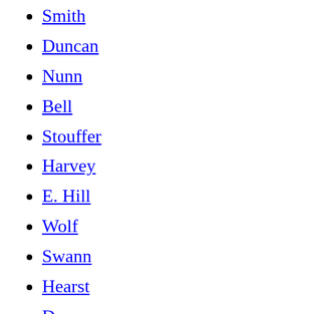Smith
Duncan
Nunn
Bell
Stouffer
Harvey
E. Hill
Wolf
Swann
Hearst
Dye
Miller
S. Rice
Knight
Wadsworth
Boston
Shelton
T. Jones
Davis
Bryant
Johnson
Pace
Fitzgerald
Rolle
Leinart